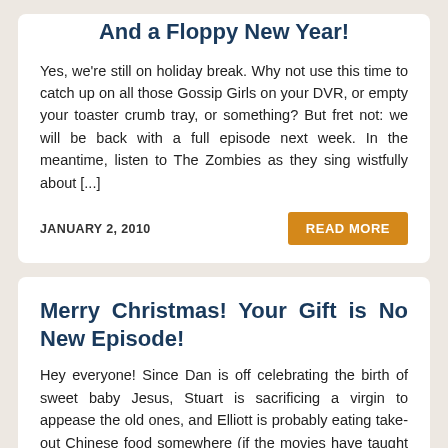And a Floppy New Year!
Yes, we're still on holiday break. Why not use this time to catch up on all those Gossip Girls on your DVR, or empty your toaster crumb tray, or something? But fret not: we will be back with a full episode next week. In the meantime, listen to The Zombies as they sing wistfully about [...]
JANUARY 2, 2010
READ MORE
Merry Christmas! Your Gift is No New Episode!
Hey everyone! Since Dan is off celebrating the birth of sweet baby Jesus, Stuart is sacrificing a virgin to appease the old ones, and Elliott is probably eating take-out Chinese food somewhere (if the movies have taught us anything about what Jewish people do at Christmas), there will be no new episode this week. In [...]
DECEMBER 24, 2009
READ MORE